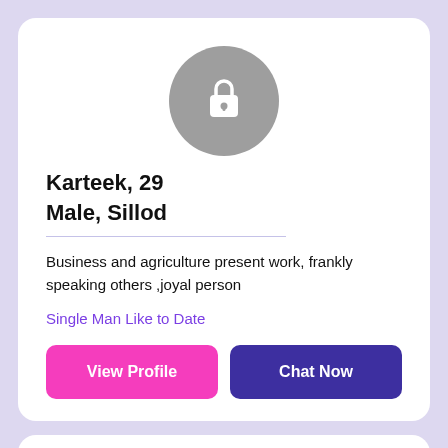[Figure (illustration): Circular gray avatar with a white lock icon in the center]
Karteek, 29
Male, Sillod
Business and agriculture present work, frankly speaking others ,joyal person
Single Man Like to Date
View Profile
Chat Now
[Figure (illustration): Partially visible circular gray avatar at top of second card]